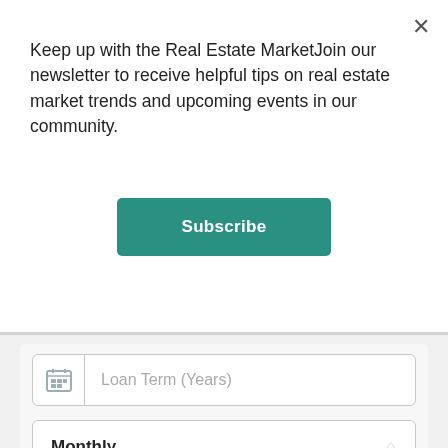Keep up with the Real Estate MarketJoin our newsletter to receive helpful tips on real estate market trends and upcoming events in our community.
Subscribe
[Figure (screenshot): Loan Term (Years) input field with calendar icon on left]
Monthly
Calculate
Latest Properties
[Figure (other): Scroll to top button with upward chevron arrow]